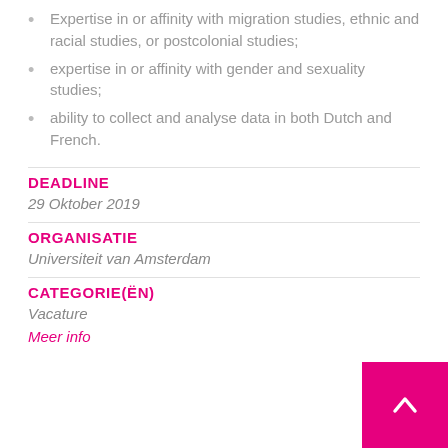Expertise in or affinity with migration studies, ethnic and racial studies, or postcolonial studies;
expertise in or affinity with gender and sexuality studies;
ability to collect and analyse data in both Dutch and French.
DEADLINE
29 Oktober 2019
ORGANISATIE
Universiteit van Amsterdam
CATEGORIE(ËN)
Vacature
Meer info